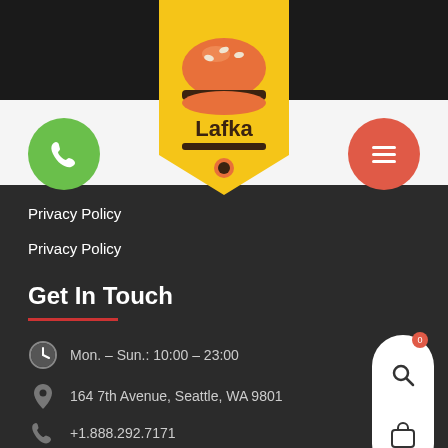[Figure (logo): Lafka burger restaurant logo — yellow shield/badge shape with orange burger icon and 'Lafka' text in dark brown]
[Figure (illustration): Green circular phone button icon on left side of header]
[Figure (illustration): Red/coral circular hamburger menu button icon on right side of header]
Privacy Policy
Privacy Policy
Get In Touch
Mon. – Sun.: 10:00 – 23:00
164 7th Avenue, Seattle, WA 9801
+1.888.292.7171
[Figure (illustration): Floating white pill-shaped button with search icon and shopping cart icon with badge showing 0]